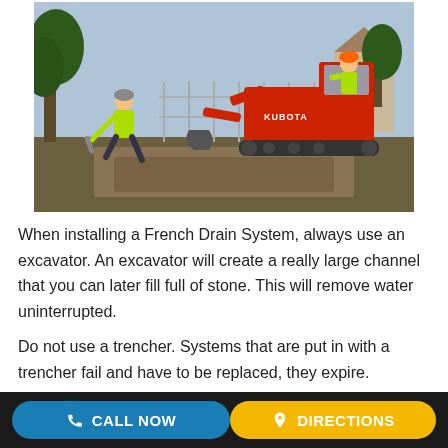[Figure (photo): Two workers in yellow safety vests using a red Kubota mini excavator to dig a trench in a yard, presumably for installing a French drain system.]
When installing a French Drain System, always use an excavator. An excavator will create a really large channel that you can later fill full of stone. This will remove water uninterrupted.
Do not use a trencher. Systems that are put in with a trencher fail and have to be replaced, they expire.
CALL NOW   DIRECTIONS